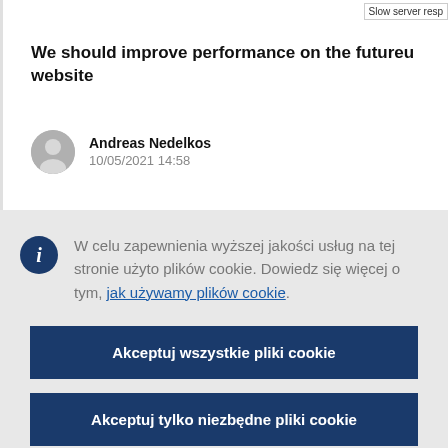Slow server resp
We should improve performance on the futureu website
Andreas Nedelkos
10/05/2021 14:58
W celu zapewnienia wyższej jakości usług na tej stronie użyto plików cookie. Dowiedz się więcej o tym, jak używamy plików cookie.
Akceptuj wszystkie pliki cookie
Akceptuj tylko niezbędne pliki cookie